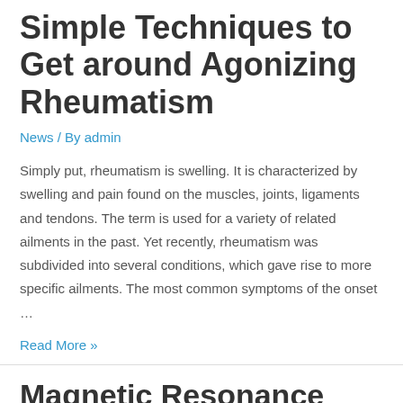Simple Techniques to Get around Agonizing Rheumatism
News / By admin
Simply put, rheumatism is swelling. It is characterized by swelling and pain found on the muscles, joints, ligaments and tendons. The term is used for a variety of related ailments in the past. Yet recently, rheumatism was subdivided into several conditions, which gave rise to more specific ailments. The most common symptoms of the onset …
Read More »
Magnetic Resonance Imaging – A Reliable Technique in